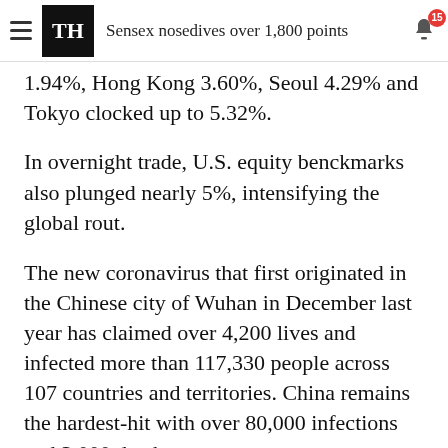Sensex nosedives over 1,800 points
1.94%, Hong Kong 3.60%, Seoul 4.29% and Tokyo clocked up to 5.32%.
In overnight trade, U.S. equity benckmarks also plunged nearly 5%, intensifying the global rout.
The new coronavirus that first originated in the Chinese city of Wuhan in December last year has claimed over 4,200 lives and infected more than 117,330 people across 107 countries and territories. China remains the hardest-hit with over 80,000 infections and 3,000 deaths.
[Figure (logo): THE HINDU newspaper logo with ornate emblem between THE and HINDU]
Our code of editorial values